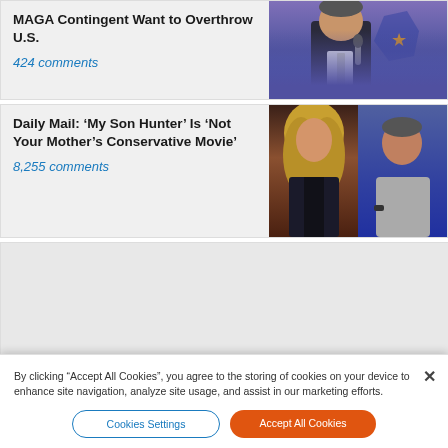MAGA Contingent Want to Overthrow U.S.
424 comments
[Figure (photo): Man in dark suit speaking into a microphone against a blue background]
Daily Mail: ‘My Son Hunter’ Is ‘Not Your Mother’s Conservative Movie’
8,255 comments
[Figure (photo): Two photos side by side: blonde woman in dark outfit on left, man in grey shirt on right]
By clicking “Accept All Cookies”, you agree to the storing of cookies on your device to enhance site navigation, analyze site usage, and assist in our marketing efforts.
Cookies Settings
Accept All Cookies